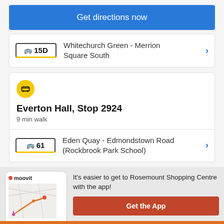Get directions now
15D Whitechurch Green - Merrion Square South
Everton Hall, Stop 2924
9 min walk
61 Eden Quay - Edmondstown Road (Rockbrook Park School)
It's easier to get to Rosemount Shopping Centre with the app!
Get the App